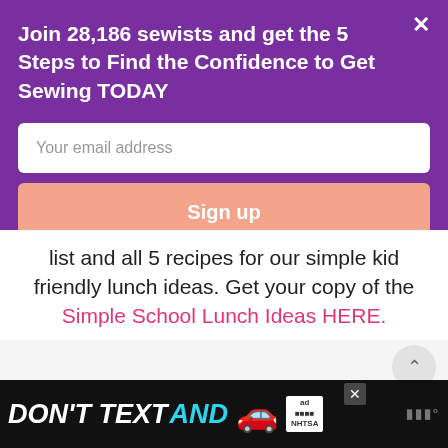Join 28,186 sewists and get the 5 Steps to Find the Confidence to Get Sewing TODAY
Your email address
Sign up
list and all 5 recipes for our simple kid friendly lunch ideas. Get your copy of the Simple School Lunch Ideas HERE.
[Figure (screenshot): Advertisement banner at the bottom showing 'DON'T TEXT AND' with a red car emoji and NHTSA ad badge]